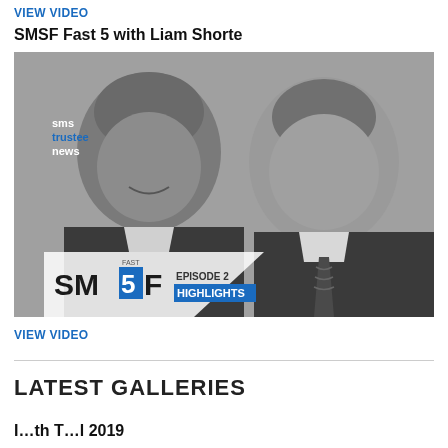VIEW VIDEO
SMSF Fast 5 with Liam Shorte
[Figure (photo): Black and white photo of two men side by side. Left man is Asian, smiling in a suit. Right man is Caucasian, smiling in a suit with a tie. The image has the 'sms trustee news' logo in the top left and 'SM5F EPISODE 2 HIGHLIGHTS' branding at the bottom left.]
VIEW VIDEO
LATEST GALLERIES
I…th T…l 2019